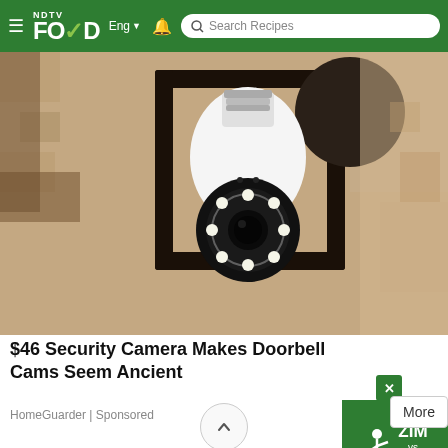NDTV FOOD | Eng | Search Recipes
[Figure (photo): Security camera shaped like a light bulb mounted in an outdoor black metal lantern bracket on a textured stone/stucco wall]
$46 Security Camera Makes Doorbell Cams Seem Ancient
HomeGuarder | Sponsored
[Figure (photo): Partial view of another outdoor security camera mounted on a wall, bottom of page]